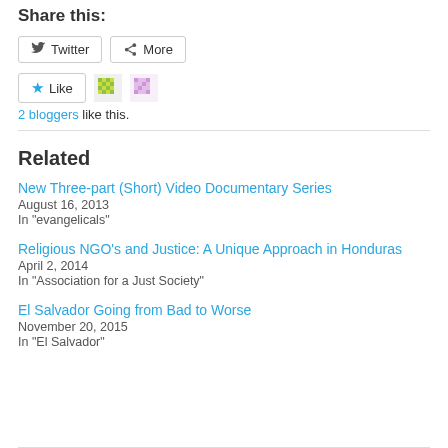Share this:
Twitter More
Like 2 bloggers like this.
Related
New Three-part (Short) Video Documentary Series
August 16, 2013
In "evangelicals"
Religious NGO's and Justice: A Unique Approach in Honduras
April 2, 2014
In "Association for a Just Society"
El Salvador Going from Bad to Worse
November 20, 2015
In "El Salvador"